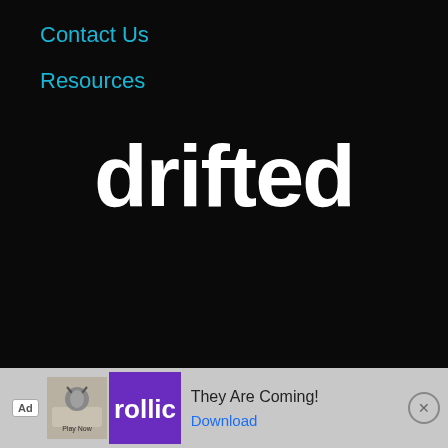Contact Us
Resources
[Figure (logo): Drifted logo in large bold white lowercase text on black background]
©COPYRIGHT 2022 DRIFTED
Privacy Policy
Cookie Policy
Terms & Conditions
[Figure (infographic): Ad banner at bottom: Rollic game ad with 'They Are Coming!' text and Download button]